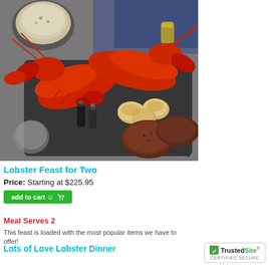[Figure (photo): Photo of a lobster feast spread: two whole red lobsters on a slate tray with steaks, biscuits, clam chowder bowl, salt and pepper shakers, and a small glass of butter, on a gray background with blue napkin.]
Lobster Feast for Two
Price: Starting at $225.95
add to cart
Meal Serves 2
This feast is loaded with the most popular items we have to offer!
Lots of Love Lobster Dinner